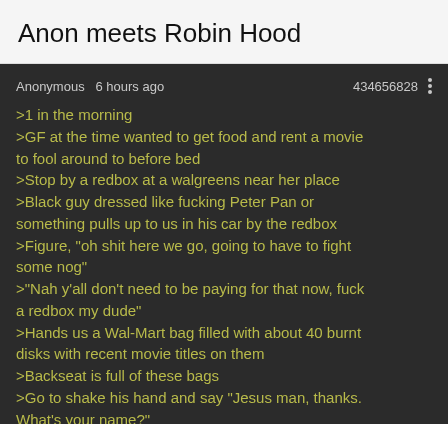Anon meets Robin Hood
Anonymous 6 hours ago 434656828
>1 in the morning
>GF at the time wanted to get food and rent a movie to fool around to before bed
>Stop by a redbox at a walgreens near her place
>Black guy dressed like fucking Peter Pan or something pulls up to us in his car by the redbox
>Figure, "oh shit here we go, going to have to fight some nog"
>"Nah y'all don't need to be paying for that now, fuck a redbox my dude"
>Hands us a Wal-Mart bag filled with about 40 burnt disks with recent movie titles on them
>Backseat is full of these bags
>Go to shake his hand and say "Jesus man, thanks. What's your name?"
>"Who me? Y'all can just call me... NIGGA ROBIN HOOD!"